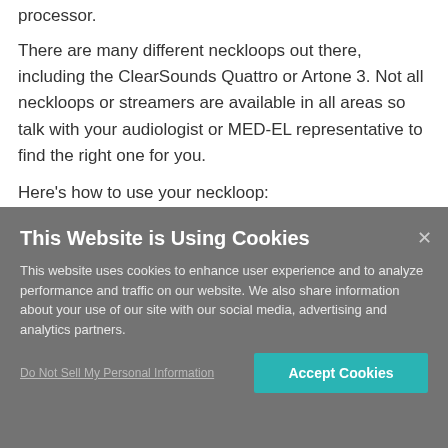processor.
There are many different neckloops out there, including the ClearSounds Quattro or Artone 3. Not all neckloops or streamers are available in all areas so talk with your audiologist or MED-EL representative to find the right one for you.
Here’s how to use your neckloop:
This Website is Using Cookies
This website uses cookies to enhance user experience and to analyze performance and traffic on our website. We also share information about your use of our site with our social media, advertising and analytics partners.
Do Not Sell My Personal Information
Accept Cookies